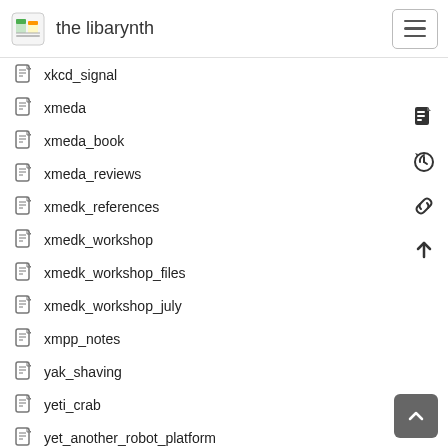the libarynth
xkcd_signal
xmeda
xmeda_book
xmeda_reviews
xmedk_references
xmedk_workshop
xmedk_workshop_files
xmedk_workshop_july
xmpp_notes
yak_shaving
yeti_crab
yet_another_robot_platform
ygl_summit_2006
yogi_berra
yon_visell
yooneun_jung
yoshimasa_and_the_silver_pavilion
your_research